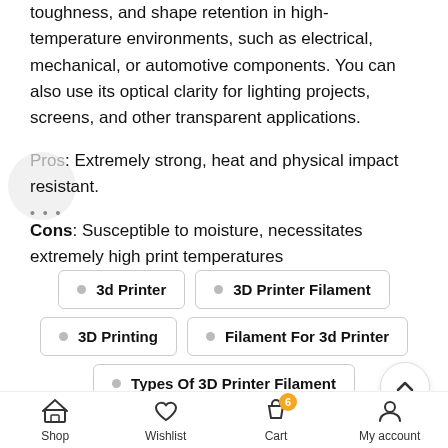toughness, and shape retention in high-temperature environments, such as electrical, mechanical, or automotive components. You can also use its optical clarity for lighting projects, screens, and other transparent applications.
Pros: Extremely strong, heat and physical impact resistant.
Cons: Susceptible to moisture, necessitates extremely high print temperatures
3d Printer
3D Printer Filament
3D Printing
Filament For 3d Printer
Types Of 3D Printer Filament
Shop  Wishlist  Cart (6)  My account